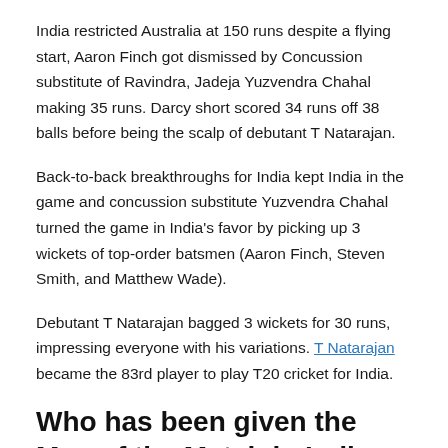India restricted Australia at 150 runs despite a flying start, Aaron Finch got dismissed by Concussion substitute of Ravindra, Jadeja Yuzvendra Chahal making 35 runs. Darcy short scored 34 runs off 38 balls before being the scalp of debutant T Natarajan.
Back-to-back breakthroughs for India kept India in the game and concussion substitute Yuzvendra Chahal turned the game in India's favor by picking up 3 wickets of top-order batsmen (Aaron Finch, Steven Smith, and Matthew Wade).
Debutant T Natarajan bagged 3 wickets for 30 runs, impressing everyone with his variations. T Natarajan became the 83rd player to play T20 cricket for India.
Who has been given the Man of the Match in India vs Australia 1st T20?